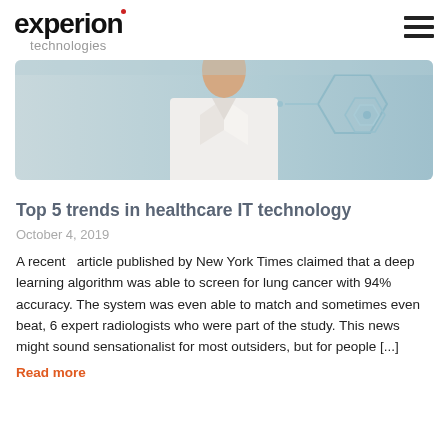[Figure (logo): Experion Technologies logo with red accent on letter i]
[Figure (photo): Medical professional in white coat with digital hexagonal interface overlay, light blue/teal color scheme]
Top 5 trends in healthcare IT technology
October 4, 2019
A recent  article published by New York Times claimed that a deep learning algorithm was able to screen for lung cancer with 94% accuracy. The system was even able to match and sometimes even beat, 6 expert radiologists who were part of the study. This news might sound sensationalist for most outsiders, but for people [...]
Read more